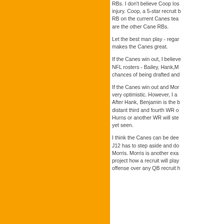RBs. I don't believe Coop lost his starting job due to injury. Coop, a 5-star recruit became the best RB on the current Canes team. Cooper and Williams are the other Cane RBs.
Let the best man play - regardless of class. That makes the Canes great.
If the Canes win out, I believe several WRs make NFL rosters - Bailey, Hank,M... chances of being drafted and...
If the Canes win out and Mor... very optimistic. However, I a... After Hank, Benjamin is the b... distant third and fourth WR o... Hurns or another WR will ste... yet seen.
I think the Canes can be dee... J12 has to step aside and do... Morris. Morris is another exa... project how a recruit will play... offense over any QB recruit h...